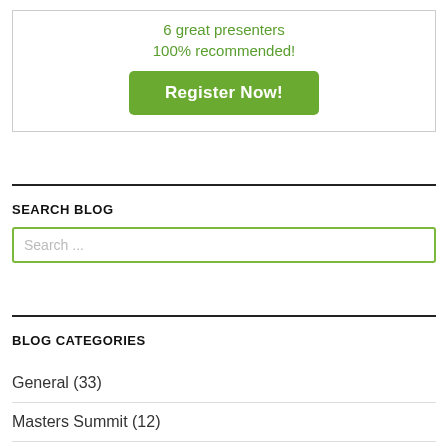6 great presenters
100% recommended!
Register Now!
SEARCH BLOG
Search ...
BLOG CATEGORIES
General (33)
Masters Summit (12)
Performance (25)